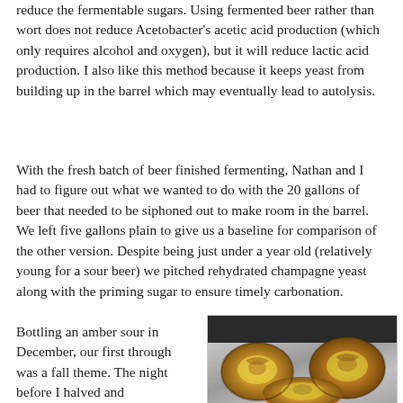reduce the fermentable sugars. Using fermented beer rather than wort does not reduce Acetobacter's acetic acid production (which only requires alcohol and oxygen), but it will reduce lactic acid production. I also like this method because it keeps yeast from building up in the barrel which may eventually lead to autolysis.
With the fresh batch of beer finished fermenting, Nathan and I had to figure out what we wanted to do with the 20 gallons of beer that needed to be siphoned out to make room in the barrel. We left five gallons plain to give us a baseline for comparison of the other version. Despite being just under a year old (relatively young for a sour beer) we pitched rehydrated champagne yeast along with the priming sugar to ensure timely carbonation.
Bottling an amber sour in December, our first through was a fall theme. The night before I halved and
[Figure (photo): Photo of halved acorn squashes roasted on aluminum foil, showing golden-orange flesh with caramelized edges]